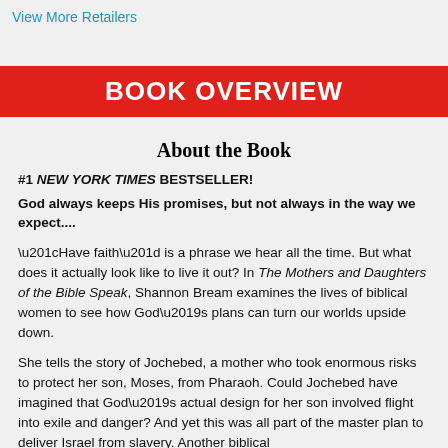View More Retailers
BOOK OVERVIEW
About the Book
#1 NEW YORK TIMES BESTSELLER!
God always keeps His promises, but not always in the way we expect....
“Have faith” is a phrase we hear all the time. But what does it actually look like to live it out? In The Mothers and Daughters of the Bible Speak, Shannon Bream examines the lives of biblical women to see how God’s plans can turn our worlds upside down.
She tells the story of Jochebed, a mother who took enormous risks to protect her son, Moses, from Pharaoh. Could Jochebed have imagined that God’s actual design for her son involved flight into exile and danger? And yet this was all part of the master plan to deliver Israel from slavery. Another biblical